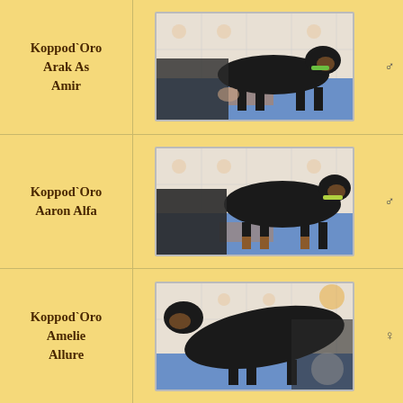Koppod`Oro Arak As Amir
[Figure (photo): Black and tan Rottweiler puppy standing on a table, side profile, wearing a yellow-green collar, indoors with tiled wall background]
Koppod`Oro Aaron Alfa
[Figure (photo): Black and tan Rottweiler puppy standing on a table, side profile, wearing a yellow-green collar, indoors with tiled wall background]
Koppod`Oro Amelie Allure
[Figure (photo): Black and tan Rottweiler puppy on a table, indoors with tiled wall background, partially visible]